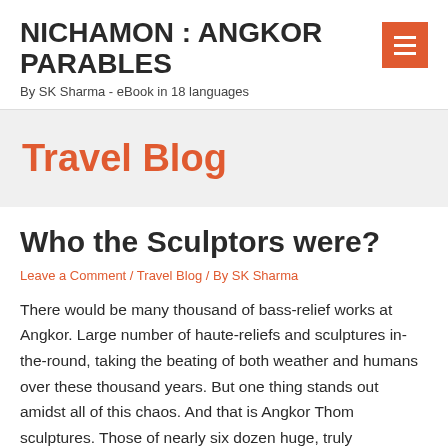NICHAMON : ANGKOR PARABLES
By SK Sharma - eBook in 18 languages
Travel Blog
Who the Sculptors were?
Leave a Comment / Travel Blog / By SK Sharma
There would be many thousand of bass-relief works at Angkor. Large number of haute-reliefs and sculptures in-the-round, taking the beating of both weather and humans over these thousand years. But one thing stands out amidst all of this chaos. And that is Angkor Thom sculptures. Those of nearly six dozen huge, truly